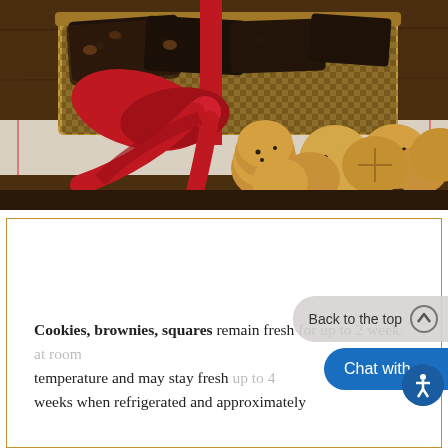[Figure (photo): A woven basket filled with brownies and cookies, decorated with a red ribbon bow, surrounded by stacked chocolate chip and peanut butter cookies on a white cloth against a dark wooden table background.]
Freshness
Cookies, brownies, squares remain fresh for up to 2 weeks at room temperature and may stay fresh up to 4 weeks when refrigerated and approximately